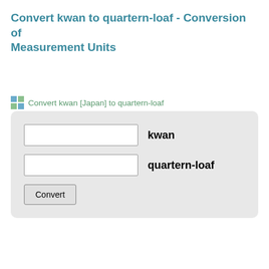Convert kwan to quartern-loaf - Conversion of Measurement Units
Convert kwan [Japan] to quartern-loaf
[Figure (other): Unit converter form with two input fields labeled 'kwan' and 'quartern-loaf', and a Convert button, inside a rounded gray box.]